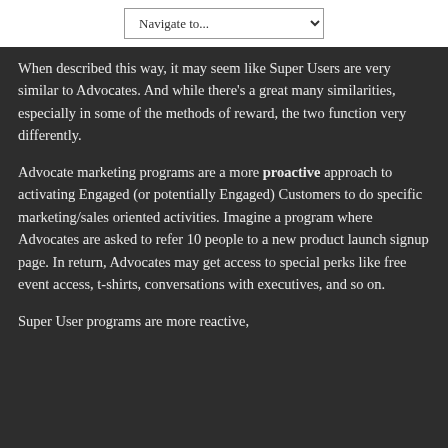Navigate to...
When described this way, it may seem like Super Users are very similar to Advocates. And while there’s a great many similarities, especially in some of the methods of reward, the two function very differently.
Advocate marketing programs are a more proactive approach to activating Engaged (or potentially Engaged) Customers to do specific marketing/sales oriented activities. Imagine a program where Advocates are asked to refer 10 people to a new product launch signup page. In return, Advocates may get access to special perks like free event access, t-shirts, conversations with executives, and so on.
Super User programs are more reactive,